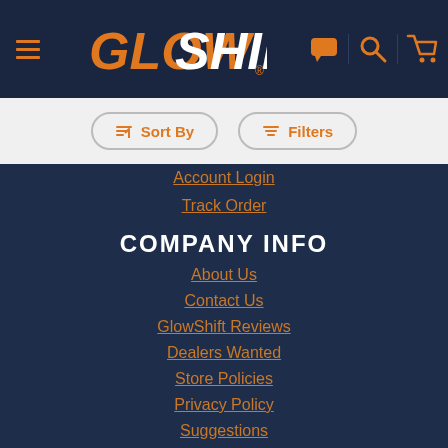GlowShift navigation header with menu, logo, chat, search, and cart icons
Sort By   Filters
Account Login
Track Order
COMPANY INFO
About Us
Contact Us
GlowShift Reviews
Dealers Wanted
Store Policies
Privacy Policy
Suggestions
Blog
SUPPORT